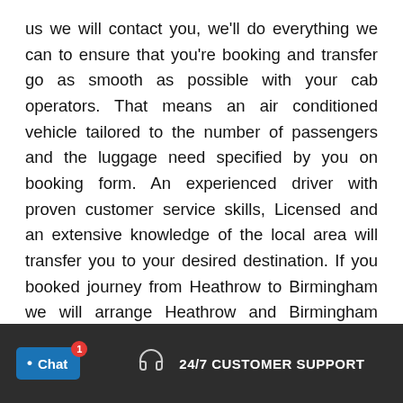us we will contact you, we'll do everything we can to ensure that you're booking and transfer go as smooth as possible with your cab operators. That means an air conditioned vehicle tailored to the number of passengers and the luggage need specified by you on booking form. An experienced driver with proven customer service skills, Licensed and an extensive knowledge of the local area will transfer you to your desired destination. If you booked journey from Heathrow to Birmingham we will arrange Heathrow and Birmingham native drives that's help us to make your journey more convenient
Chat  1  24/7 CUSTOMER SUPPORT